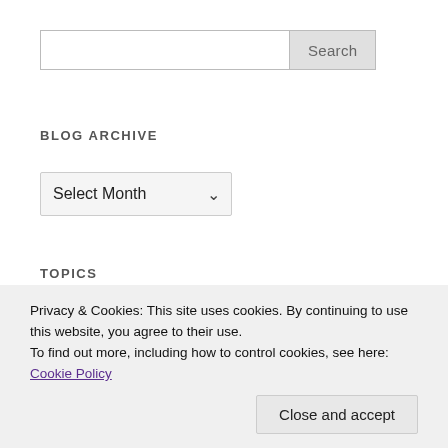Search
BLOG ARCHIVE
Select Month
TOPICS
Select Cate...
Privacy & Cookies: This site uses cookies. By continuing to use this website, you agree to their use.
To find out more, including how to control cookies, see here: Cookie Policy
Close and accept